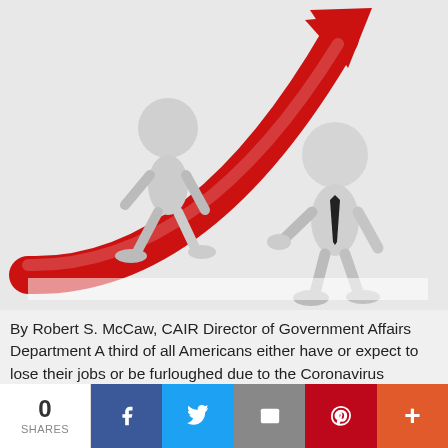[Figure (illustration): 3D rendered illustration showing two white stick-figure people and a large red upward-curving arrow. One figure walks along the arrow on the left, another figure in a tie stands on the right watching the arrow rise.]
By Robert S. McCaw, CAIR Director of Government Affairs Department A third of all Americans either have or expect to lose their jobs or be furloughed due to the Coronavirus epidemic. If you are one of those people whose employment has been negatively impacted by the Coronavirus, the Council on American-Islamic Relations (CAIR) has prepared